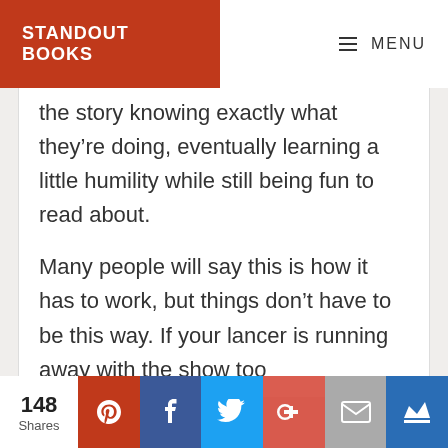STANDOUT BOOKS   MENU
the story knowing exactly what they're doing, eventually learning a little humility while still being fun to read about.
Many people will say this is how it has to work, but things don't have to be this way. If your lancer is running away with the show too
148 Shares  [Pinterest] [Facebook] [Twitter] [Google+] [Email] [Crown]